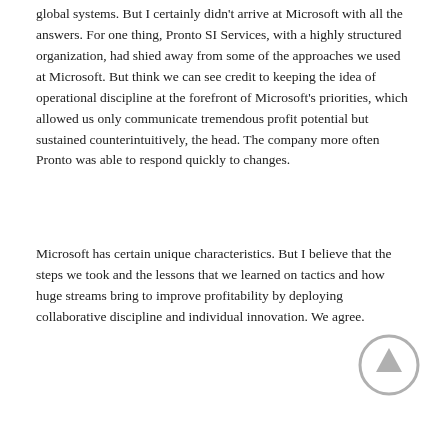global systems. But I certainly didn't arrive at Microsoft with all the answers. For one thing, Pronto SI Services, with a highly structured organization, had shied away from some of the approaches we used at Microsoft. But think we can see credit to keeping the idea of operational discipline at the forefront of Microsoft's priorities, which allowed us only communicate tremendous profit potential but sustained counterintuitively, the head. The company more often Pronto was able to respond quickly to changes.
Microsoft has certain unique characteristics. But I believe that the steps we took and the lessons that we learned on tactics and how huge streams bring to improve profitability by deploying collaborative discipline and individual innovation. We  agree.